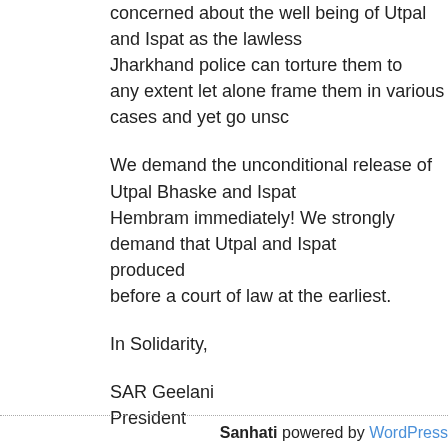concerned about the well being of Utpal and Ispat as the lawless Jharkhand police can torture them to any extent let alone frame them in various cases and yet go unscathed.
We demand the unconditional release of Utpal Bhaske and Ispat Hembram immediately! We strongly demand that Utpal and Ispat produced before a court of law at the earliest.
In Solidarity,
SAR Geelani
President
Amit Bhattacharyya
Secretary General
Rona Wilson
Secretary, Public Relations
Sanhati powered by WordPress